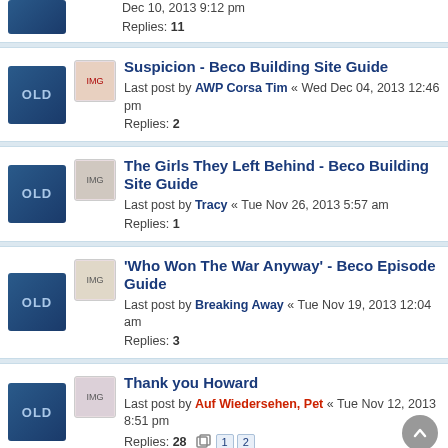Dec 10, 2013 9:12 pm
Replies: 11
Suspicion - Beco Building Site Guide
Last post by AWP Corsa Tim « Wed Dec 04, 2013 12:46 pm
Replies: 2
The Girls They Left Behind - Beco Building Site Guide
Last post by Tracy « Tue Nov 26, 2013 5:57 am
Replies: 1
'Who Won The War Anyway' - Beco Episode Guide
Last post by Breaking Away « Tue Nov 19, 2013 12:04 am
Replies: 3
Thank you Howard
Last post by Auf Wiedersehen, Pet « Tue Nov 12, 2013 8:51 pm
Replies: 28